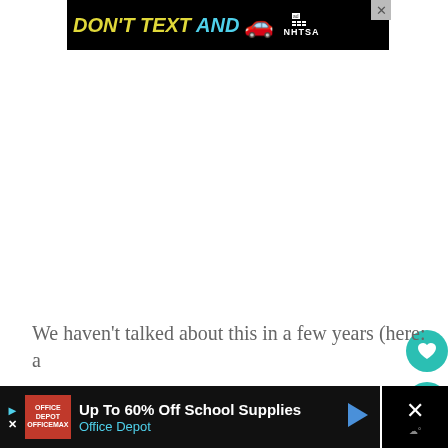[Figure (infographic): NHTSA 'Don't Text AND Drive' advertisement banner with yellow and cyan text on black background, red car emoji, and NHTSA logo with close button]
We haven't talked about this in a few years (here: a
[Figure (infographic): Office Depot advertisement: 'Up To 60% Off School Supplies' with Office Depot branding in red and blue on black background, navigation arrow icon, and close X button]